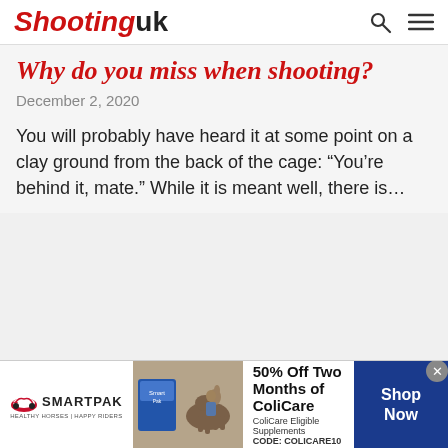Shooting uk
Why do you miss when shooting?
December 2, 2020
You will probably have heard it at some point on a clay ground from the back of the cage: “You’re behind it, mate.” While it is meant well, there is…
[Figure (infographic): SmartPak advertisement banner: SmartPak logo on left, product image with horse and person in center, text '50% Off Two Months of ColiCare, ColiCare Eligible Supplements, CODE: COLICARE10', and blue 'Shop Now' button on right.]